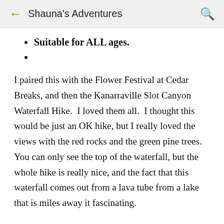Shauna's Adventures
Suitable for ALL ages.
I paired this with the Flower Festival at Cedar Breaks, and then the Kanarraville Slot Canyon Waterfall Hike.  I loved them all.  I thought this would be just an OK hike, but I really loved the views with the red rocks and the green pine trees. You can only see the top of the waterfall, but the whole hike is really nice, and the fact that this waterfall comes out from a lava tube from a lake that is miles away it fascinating.